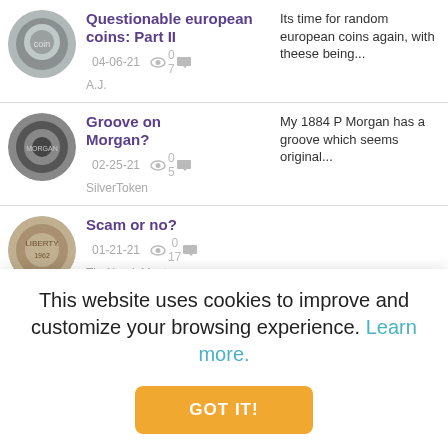Questionable european coins: Part II | A.J. | 04-06-21 | views: 0, comments: 7 | Its time for random european coins again, with theese being...
Groove on Morgan? | SilverToken | 02-25-21 | views: 0, comments: 5 | My 1884 P Morgan has a groove which seems original...
Scam or no? | TheNumisMaster | 01-21-21 | views: 0, comments: 17
Strange | Hello everyone! I
This website uses cookies to improve and customize your browsing experience. Learn more.
GOT IT!